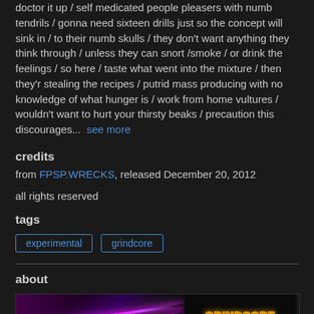doctor it up / self medicated people pleasers with numb tendrils / gonna need sixteen drills just so the concept will sink in / to their numb skulls / they don't want anything they think through / unless they can snort /smoke / or drink the feelings / so here / taste what went into the mixture / then they'r stealing the recipes / putrid mass producing with no knowledge of what hunger is / work from home vultures / wouldn't want to hurt your thirsty beaks / precaution this discourages... see more
credits
from FPSP.WRECKS, released December 20, 2012
all rights reserved
tags
experimental
grindcore
about
[Figure (photo): Two side-by-side images: left shows a dark scene with neon pink/purple lighting streaks; right shows stylized text reading 'GRINDCORE KARAOKE' with orange and cyan neon outlines on dark background]